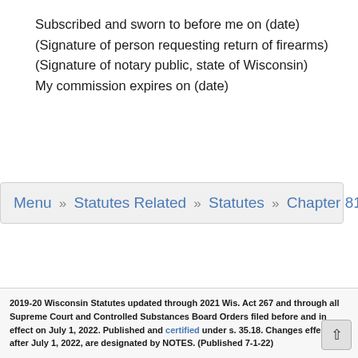Subscribed and sworn to before me on (date)
(Signature of person requesting return of firearms)
(Signature of notary public, state of Wisconsin)
My commission expires on (date)
Menu » Statutes Related » Statutes » Chapter 813
2019-20 Wisconsin Statutes updated through 2021 Wis. Act 267 and through all Supreme Court and Controlled Substances Board Orders filed before and in effect on July 1, 2022. Published and certified under s. 35.18. Changes effective after July 1, 2022, are designated by NOTES. (Published 7-1-22)